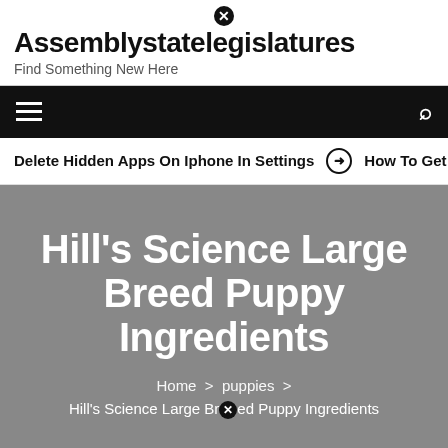Assemblystatelegislatures — Find Something New Here
[Figure (screenshot): Navigation bar with hamburger menu icon on the left and search icon on the right, black background]
Delete Hidden Apps On Iphone In Settings   ⊙ How To Get P
Hill's Science Large Breed Puppy Ingredients
Home > puppies > Hill's Science Large Breed Puppy Ingredients